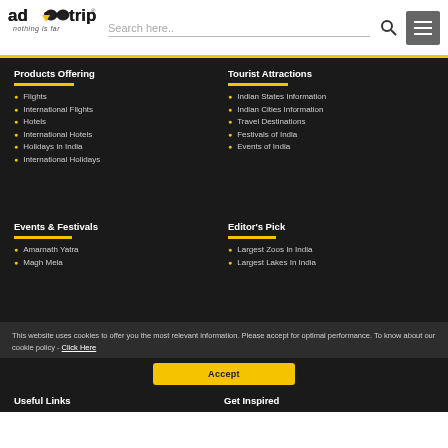adotrip - nothing is far | Search here..
Products Offering
Flights
International Flights
Hotels
International Hotels
Holidays In India
International Holidays
Tourist Attractions
Indian States Information
Indian Cities Information
Travel Destinations
Festivals of India
Events of India
Events & Festivals
Amarnath Yatra
Magh Mela
Editor's Pick
Largest Zoos In India
Largest Lakes In India
This website uses cookies to offer you the most relevant information. Please accept for optimal performance. To know about our cookie policy - Click Here
Accept
Useful Links
Get Inspired